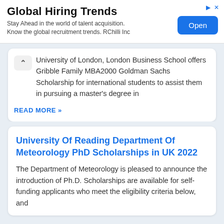[Figure (other): Advertisement banner for 'Global Hiring Trends' by RChilli Inc with an 'Open' button]
University of London, London Business School offers Gribble Family MBA2000 Goldman Sachs Scholarship for international students to assist them in pursuing a master's degree in
READ MORE »
University Of Reading Department Of Meteorology PhD Scholarships in UK 2022
The Department of Meteorology is pleased to announce the introduction of Ph.D. Scholarships are available for self-funding applicants who meet the eligibility criteria below, and